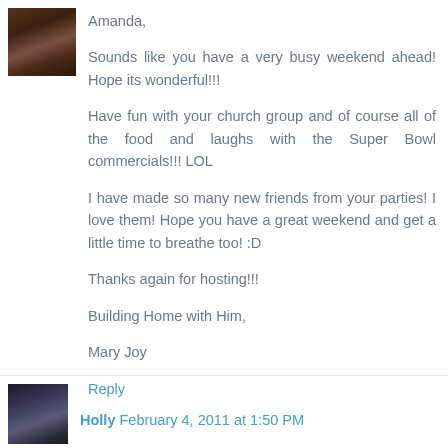[Figure (photo): Small avatar photo of a woman with dark hair]
Amanda,

Sounds like you have a very busy weekend ahead! Hope its wonderful!!!

Have fun with your church group and of course all of the food and laughs with the Super Bowl commercials!!! LOL

I have made so many new friends from your parties! I love them! Hope you have a great weekend and get a little time to breathe too! :D

Thanks again for hosting!!!

Building Home with Him,

Mary Joy
Reply
[Figure (photo): Small avatar photo of Holly wearing sunglasses]
Holly February 4, 2011 at 1:50 PM